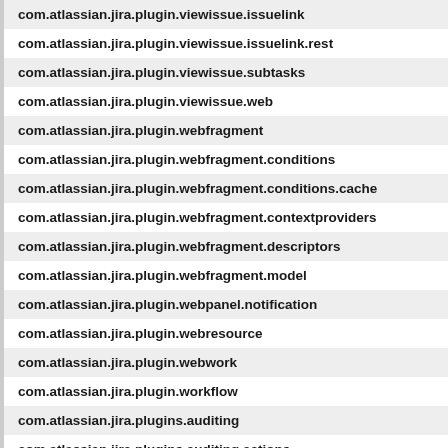com.atlassian.jira.plugin.viewissue.issuelink
com.atlassian.jira.plugin.viewissue.issuelink.rest
com.atlassian.jira.plugin.viewissue.subtasks
com.atlassian.jira.plugin.viewissue.web
com.atlassian.jira.plugin.webfragment
com.atlassian.jira.plugin.webfragment.conditions
com.atlassian.jira.plugin.webfragment.conditions.cache
com.atlassian.jira.plugin.webfragment.contextproviders
com.atlassian.jira.plugin.webfragment.descriptors
com.atlassian.jira.plugin.webfragment.model
com.atlassian.jira.plugin.webpanel.notification
com.atlassian.jira.plugin.webresource
com.atlassian.jira.plugin.webwork
com.atlassian.jira.plugin.workflow
com.atlassian.jira.plugins.auditing
com.atlassian.jira.plugins.auditing.actions
com.atlassian.jira.plugins.auditing.analytics
com.atlassian.jira.plugins.auditing.errors